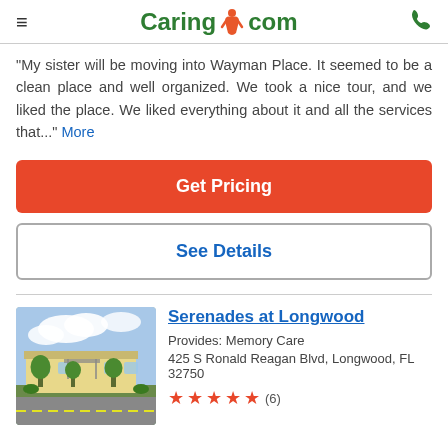Caring.com
"My sister will be moving into Wayman Place. It seemed to be a clean place and well organized. We took a nice tour, and we liked the place. We liked everything about it and all the services that..." More
Get Pricing
See Details
Serenades at Longwood
Provides: Memory Care
425 S Ronald Reagan Blvd, Longwood, FL 32750
[Figure (photo): Exterior photo of Serenades at Longwood building with parking lot and landscaping]
(6)